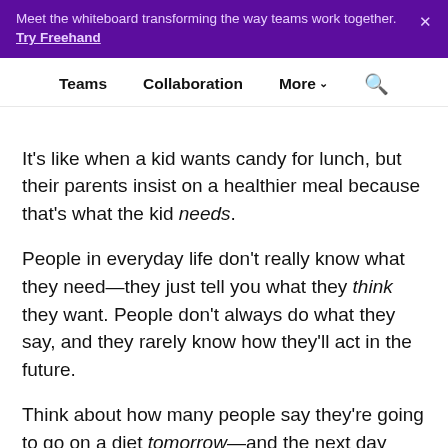Meet the whiteboard transforming the way teams work together. Try Freehand
Teams  Collaboration  More  Search
It's like when a kid wants candy for lunch, but their parents insist on a healthier meal because that's what the kid needs.
People in everyday life don't really know what they need—they just tell you what they think they want. People don't always do what they say, and they rarely know how they'll act in the future.
Think about how many people say they're going to go on a diet tomorrow—and the next day they're eating a double-bacon cheeseburger for lunch.